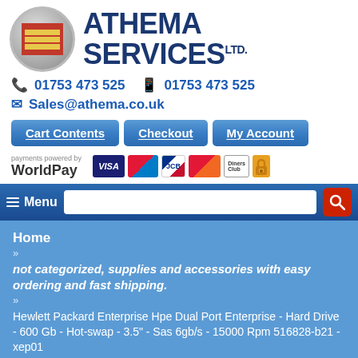[Figure (logo): Athema Services Ltd circular logo with company name in large blue bold text]
📞 01753 473 525    📠 01753 473 525
✉ Sales@athema.co.uk
Cart Contents | Checkout | My Account
[Figure (logo): WorldPay payments powered by logo with payment card icons: VISA, Maestro, JCB, Mastercard, Diners Club, padlock]
[Figure (screenshot): Navigation menu bar with hamburger menu icon, search input box, and red search button]
Home
»
not categorized, supplies and accessories with easy ordering and fast shipping.
»
Hewlett Packard Enterprise Hpe Dual Port Enterprise - Hard Drive - 600 Gb - Hot-swap - 3.5" - Sas 6gb/s - 15000 Rpm 516828-b21 - xep01
Hewlett Packard Enterprise...